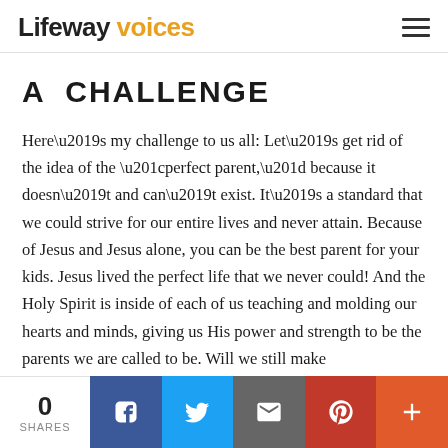Lifeway voices
A CHALLENGE
Here’s my challenge to us all: Let’s get rid of the idea of the “perfect parent,” because it doesn’t and can’t exist. It’s a standard that we could strive for our entire lives and never attain. Because of Jesus and Jesus alone, you can be the best parent for your kids. Jesus lived the perfect life that we never could! And the Holy Spirit is inside of each of us teaching and molding our hearts and minds, giving us His power and strength to be the parents we are called to be. Will we still make
0 SHARES | Facebook | Twitter | Email | Pinterest | More